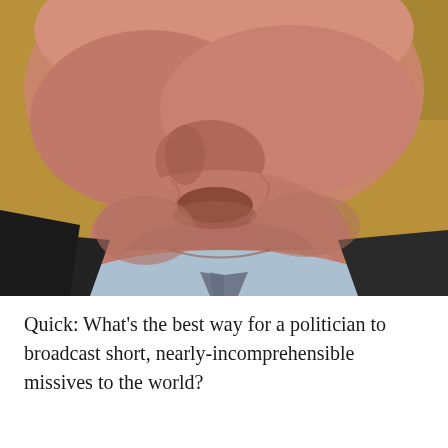[Figure (photo): Close-up photograph of an elderly man's face from the nose down, wearing a dark suit jacket, light blue dress shirt, and a grey/dark patterned tie. The background is blurred and warm-toned.]
Quick: What's the best way for a politician to broadcast short, nearly-incomprehensible missives to the world?